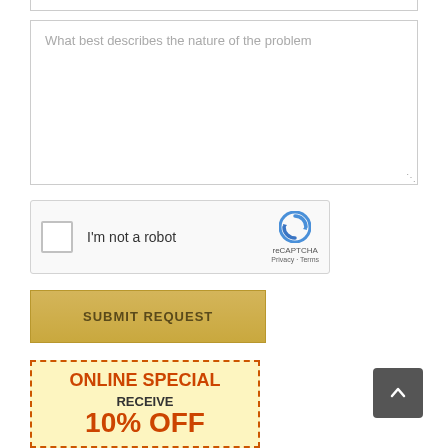What best describes the nature of the problem
[Figure (other): reCAPTCHA widget with checkbox labeled I'm not a robot, reCAPTCHA logo, Privacy and Terms links]
SUBMIT REQUEST
[Figure (other): Online special promotional banner with orange dashed border on yellow background reading ONLINE SPECIAL RECEIVE]
[Figure (other): Back to top button, dark gray with upward chevron arrow]